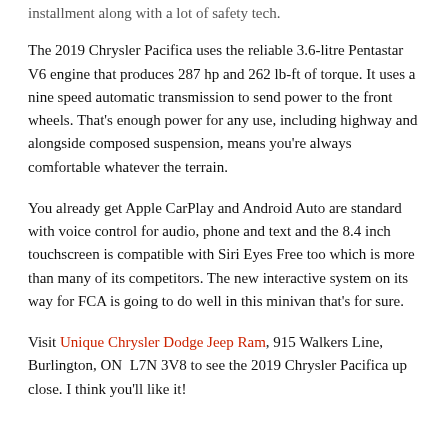installment along with a lot of safety tech.
The 2019 Chrysler Pacifica uses the reliable 3.6-litre Pentastar V6 engine that produces 287 hp and 262 lb-ft of torque. It uses a nine speed automatic transmission to send power to the front wheels. That's enough power for any use, including highway and alongside composed suspension, means you're always comfortable whatever the terrain.
You already get Apple CarPlay and Android Auto are standard with voice control for audio, phone and text and the 8.4 inch touchscreen is compatible with Siri Eyes Free too which is more than many of its competitors. The new interactive system on its way for FCA is going to do well in this minivan that's for sure.
Visit Unique Chrysler Dodge Jeep Ram, 915 Walkers Line, Burlington, ON  L7N 3V8 to see the 2019 Chrysler Pacifica up close. I think you'll like it!